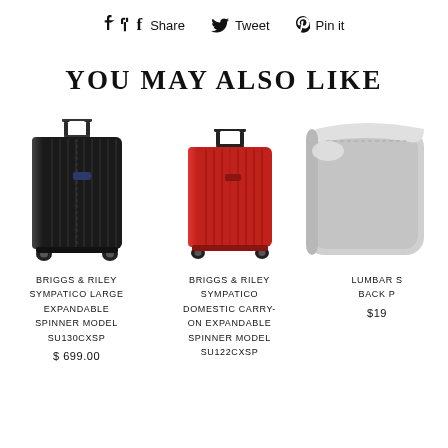f Share   Tweet   Pin it
YOU MAY ALSO LIKE
[Figure (photo): Black Briggs & Riley Sympatico large hardside spinner suitcase]
BRIGGS & RILEY SYMPATICO LARGE EXPANDABLE SPINNER MODEL SU130CXSP
$ 699.00
[Figure (photo): Red Briggs & Riley Sympatico domestic carry-on hardside spinner suitcase]
BRIGGS & RILEY SYMPATICO DOMESTIC CARRY-ON EXPANDABLE SPINNER MODEL SU122CXSP
[Figure (photo): White/grey lumbar support back pillow (partially visible)]
LUMBAR S... BACK P...
$19...